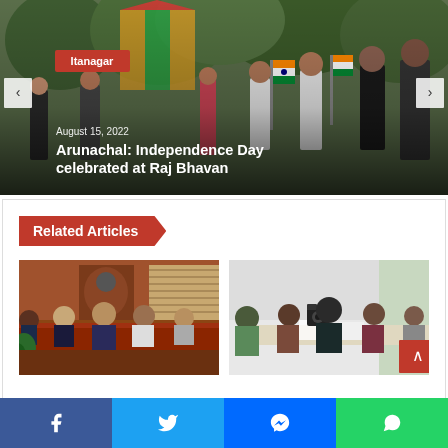[Figure (photo): A parade or march with people carrying Indian flags, on a tree-lined path. Navigation arrows on left and right sides.]
Itanagar
August 15, 2022
Arunachal: Independence Day celebrated at Raj Bhavan
Related Articles
[Figure (photo): Officials seated at a meeting table in an ornate room, a formal meeting scene.]
[Figure (photo): Government officials or leaders sitting around a conference table in a meeting room.]